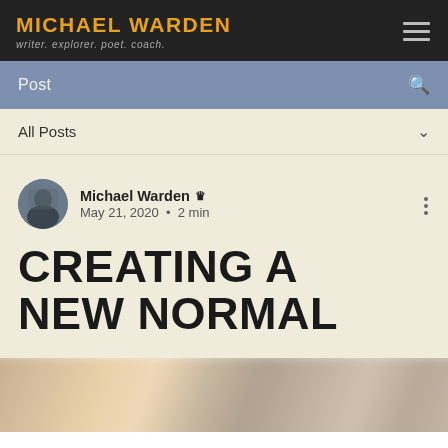MICHAEL WARDEN — writer. explorer. poet. coach.
Post
All Posts
Michael Warden ♛
May 21, 2020 · 2 min
CREATING A NEW NORMAL
[Figure (photo): Blurred photo at bottom of page, showing indistinct colorful figures]